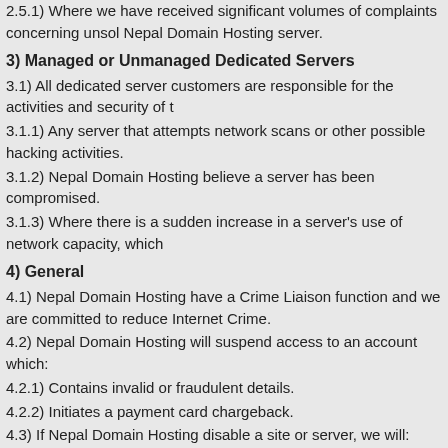2.5.1) Where we have received significant volumes of complaints concerning unsol Nepal Domain Hosting server.
3) Managed or Unmanaged Dedicated Servers
3.1) All dedicated server customers are responsible for the activities and security of t
3.1.1) Any server that attempts network scans or other possible hacking activities.
3.1.2) Nepal Domain Hosting believe a server has been compromised.
3.1.3) Where there is a sudden increase in a server's use of network capacity, which
4) General
4.1) Nepal Domain Hosting have a Crime Liaison function and we are committed to reduce Internet Crime.
4.2) Nepal Domain Hosting will suspend access to an account which:
4.2.1) Contains invalid or fraudulent details.
4.2.2) Initiates a payment card chargeback.
4.3) If Nepal Domain Hosting disable a site or server, we will:
4.3.1) Send an E-mail to the account contact, informing them of the suspension - p that you are immediately made aware of any changes in your account status.
4.3.2) Provide follow up correspondence during office hours from the appropriate de take to rectify the situation.
4.3.3) Not re-enable any domain or server that has previously been suspended for si
4.3.4) Pass the account to the appropriate department to resolve any outstanding iss